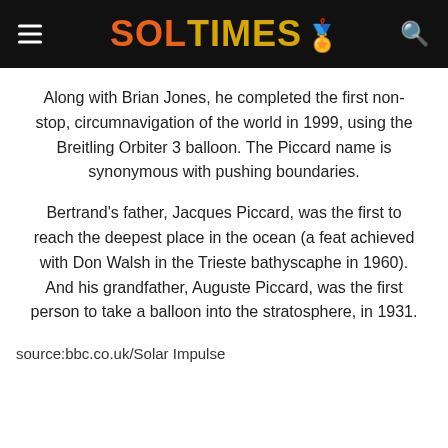SOL TIMES
Along with Brian Jones, he completed the first non-stop, circumnavigation of the world in 1999, using the Breitling Orbiter 3 balloon. The Piccard name is synonymous with pushing boundaries.
Bertrand's father, Jacques Piccard, was the first to reach the deepest place in the ocean (a feat achieved with Don Walsh in the Trieste bathyscaphe in 1960). And his grandfather, Auguste Piccard, was the first person to take a balloon into the stratosphere, in 1931.
source:bbc.co.uk/Solar Impulse